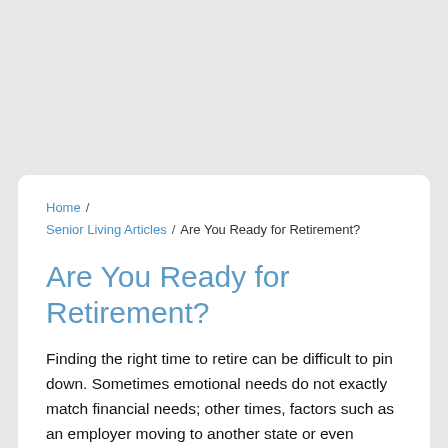Home / Senior Living Articles / Are You Ready for Retirement?
Are You Ready for Retirement?
Finding the right time to retire can be difficult to pin down. Sometimes emotional needs do not exactly match financial needs; other times, factors such as an employer moving to another state or even certain body, health and mental factors may tell us when it is time to start a new chapter. No matter how the decision is made, it's important for seniors to understand when they will be ready for retirement.